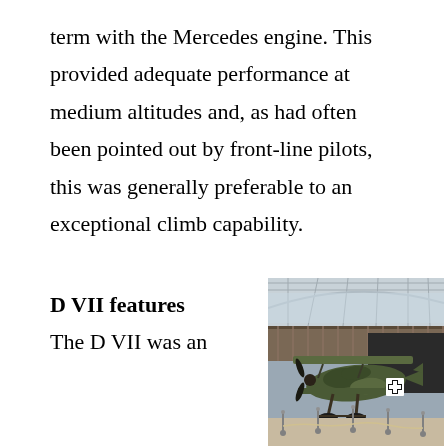term with the Mercedes engine. This provided adequate performance at medium altitudes and, as had often been pointed out by front-line pilots, this was generally preferable to an exceptional climb capability.
D VII features
The D VII was an
[Figure (photo): A World War I Fokker D VII biplane on display in a museum, with German cross markings on the fuselage, camouflage paint, displayed behind a rope barrier. Large industrial museum hall with glass ceiling visible in background.]